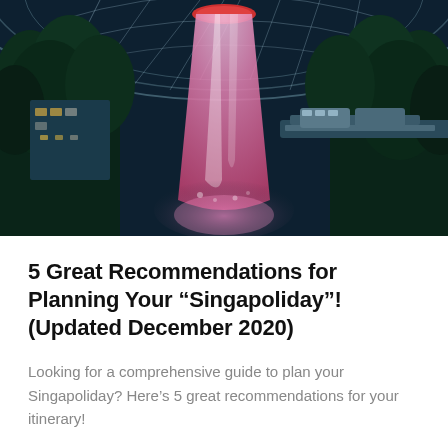[Figure (photo): Indoor waterfall at Jewel Changi Airport, Singapore. A tall illuminated vortex waterfall glows pink/purple at the center, surrounded by lush tropical plants and a geodesic glass dome ceiling. A monorail track is visible on the right side.]
5 Great Recommendations for Planning Your “Singapoliday”! (Updated December 2020)
Looking for a comprehensive guide to plan your Singapoliday? Here’s 5 great recommendations for your itinerary!